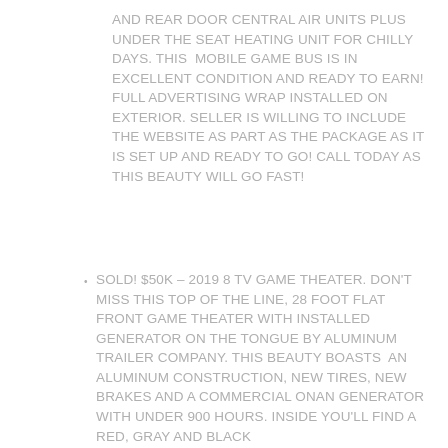AND REAR DOOR CENTRAL AIR UNITS PLUS UNDER THE SEAT HEATING UNIT FOR CHILLY DAYS. THIS MOBILE GAME BUS IS IN EXCELLENT CONDITION AND READY TO EARN! FULL ADVERTISING WRAP INSTALLED ON EXTERIOR. SELLER IS WILLING TO INCLUDE THE WEBSITE AS PART AS THE PACKAGE AS IT IS SET UP AND READY TO GO! CALL TODAY AS THIS BEAUTY WILL GO FAST!
SOLD! $50K – 2019 8 TV GAME THEATER. DON'T MISS THIS TOP OF THE LINE, 28 FOOT FLAT FRONT GAME THEATER WITH INSTALLED GENERATOR ON THE TONGUE BY ALUMINUM TRAILER COMPANY. THIS BEAUTY BOASTS AN ALUMINUM CONSTRUCTION, NEW TIRES, NEW BRAKES AND A COMMERCIAL ONAN GENERATOR WITH UNDER 900 HOURS. INSIDE YOU'LL FIND A RED, GRAY AND BLACK